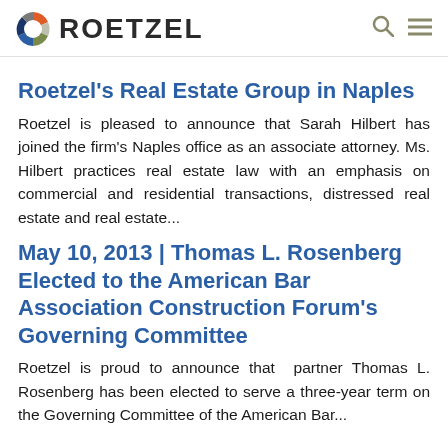ROETZEL
Roetzel's Real Estate Group in Naples
Roetzel is pleased to announce that Sarah Hilbert has joined the firm's Naples office as an associate attorney. Ms. Hilbert practices real estate law with an emphasis on commercial and residential transactions, distressed real estate and real estate...
May 10, 2013 | Thomas L. Rosenberg Elected to the American Bar Association Construction Forum's Governing Committee
Roetzel is proud to announce that  partner Thomas L. Rosenberg has been elected to serve a three-year term on the Governing Committee of the American Bar...